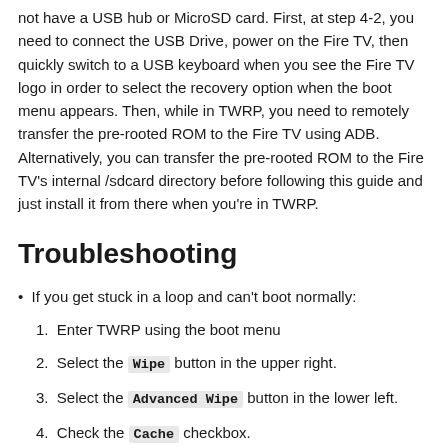not have a USB hub or MicroSD card. First, at step 4-2, you need to connect the USB Drive, power on the Fire TV, then quickly switch to a USB keyboard when you see the Fire TV logo in order to select the recovery option when the boot menu appears. Then, while in TWRP, you need to remotely transfer the pre-rooted ROM to the Fire TV using ADB. Alternatively, you can transfer the pre-rooted ROM to the Fire TV's internal /sdcard directory before following this guide and just install it from there when you're in TWRP.
Troubleshooting
If you get stuck in a loop and can't boot normally:
1. Enter TWRP using the boot menu
2. Select the Wipe button in the upper right.
3. Select the Advanced Wipe button in the lower left.
4. Check the Cache checkbox.